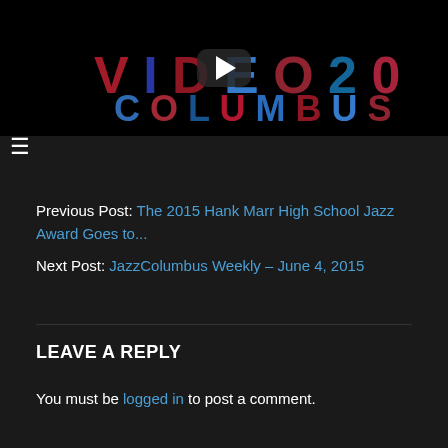[Figure (screenshot): Video thumbnail with dark/black background showing glitch text/graphics and a YouTube-style play button overlay]
Previous Post: The 2015 Hank Marr High School Jazz Award Goes to...
Next Post: JazzColumbus Weekly – June 4, 2015
LEAVE A REPLY
You must be logged in to post a comment.